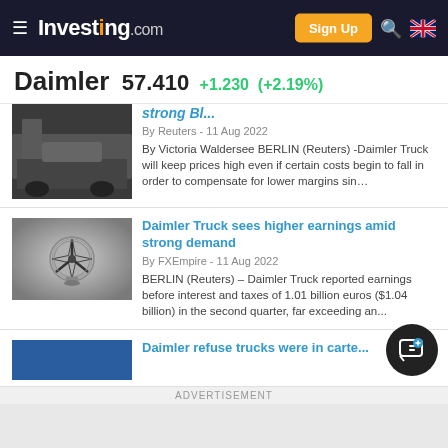Investing.com — Sign Up
Daimler 57.410 +1.230 (+2.19%)
[Figure (photo): Partial news thumbnail showing dark vehicle/person scene (top news item, partially cut off)]
strong...
By Reuters - 11 Aug 2022
By Victoria Waldersee BERLIN (Reuters) -Daimler Truck will keep prices high even if certain costs begin to fall in order to compensate for lower margins sin…
[Figure (photo): Mercedes-Benz star logo on silver/grey background]
Daimler Truck sees higher earnings amid strong demand
By FXEmpire - 11 Aug 2022
BERLIN (Reuters) – Daimler Truck reported earnings before interest and taxes of 1.01 billion euros ($1.04 billion) in the second quarter, far exceeding an…
[Figure (photo): Blue/grey banner image for bottom news item]
Daimler refuse trucks were in carte…
ADVERTISEMENT